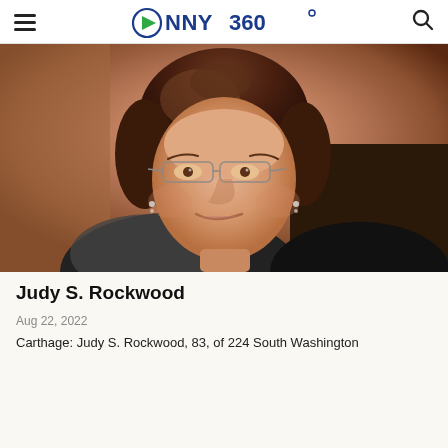NNY360
[Figure (photo): Portrait photo of an elderly woman with brown hair, glasses, and earrings, smiling at the camera, wearing a dark top.]
Judy S. Rockwood
Aug 22, 2022
Carthage: Judy S. Rockwood, 83, of 224 South Washington